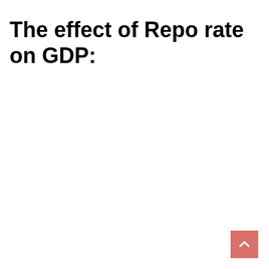The effect of Repo rate on GDP: